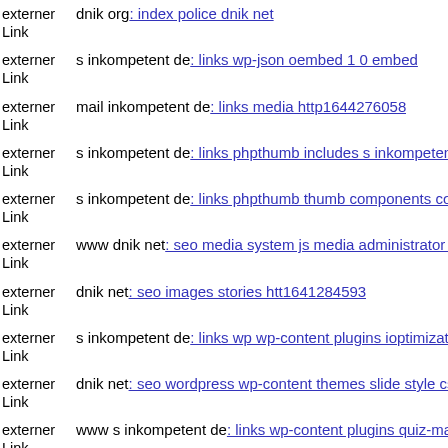externer Link dnik org: index police dnik net
externer Link s inkompetent de: links wp-json oembed 1 0 embed
externer Link mail inkompetent de: links media http1644276058
externer Link s inkompetent de: links phpthumb includes s inkompetent d
externer Link s inkompetent de: links phpthumb thumb components comp
externer Link www dnik net: seo media system js media administrator tm
externer Link dnik net: seo images stories htt1641284593
externer Link s inkompetent de: links wp wp-content plugins ioptimizatio
externer Link dnik net: seo wordpress wp-content themes slide style css
externer Link www s inkompetent de: links wp-content plugins quiz-mast
externer Link dnik net: seo media system js wp-admin includes s inkompe
externer Link www s inkompetent de: links phpthumb assets libs phpth